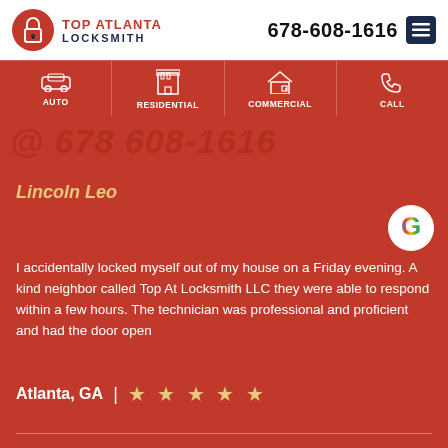Top Atlanta Locksmith | 678-608-1616
[Figure (screenshot): Navigation bar with AUTO, RESIDENTIAL, COMMERCIAL, CALL icons on dark red background]
@ 678 608-1616 (watermark)
Lincoln Leo
[Figure (logo): Google 'G' logo circle]
I accidentally locked myself out of my house on a Friday evening.  A kind neighbor called Top At Locksmith  LLC they were able to respond within a few hours.  The technician was professional and proficient and had the door open
Atlanta, GA | ★ ★ ★ ★ ★